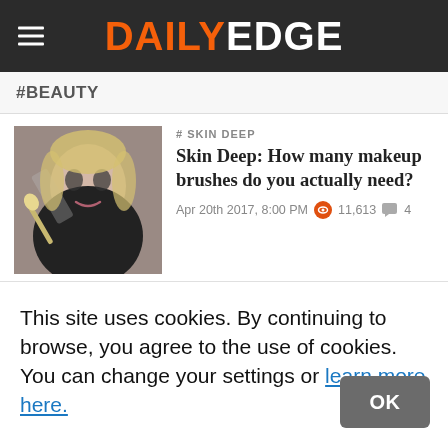DAILY EDGE
#BEAUTY
[Figure (photo): Woman applying makeup with a brush]
Skin Deep: How many makeup brushes do you actually need?
# SKIN DEEP
Apr 20th 2017, 8:00 PM  11,613  4
[Figure (photo): Chrissy Teigen with BECCA highlighter product display]
Chrissy Teigen is bringing out her own highlighter and makeup lovers are READY
# YOU GLOW GIRL
This site uses cookies. By continuing to browse, you agree to the use of cookies. You can change your settings or learn more here.